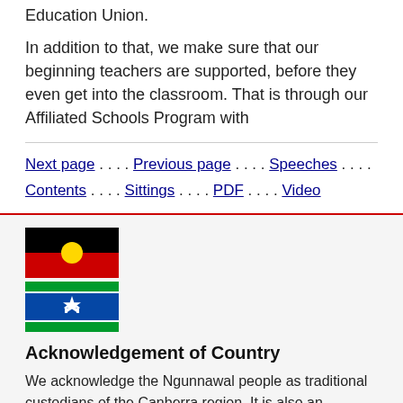Education Union.
In addition to that, we make sure that our beginning teachers are supported, before they even get into the classroom. That is through our Affiliated Schools Program with
Next page . . . . Previous page . . . . Speeches . . . . Contents . . . . Sittings . . . . PDF . . . . Video
[Figure (illustration): Australian Aboriginal flag (black top half, red bottom half, yellow circle in center) and Torres Strait Islander flag (blue and green with white star and white headdress symbol)]
Acknowledgement of Country
We acknowledge the Ngunnawal people as traditional custodians of the Canberra region. It is also an